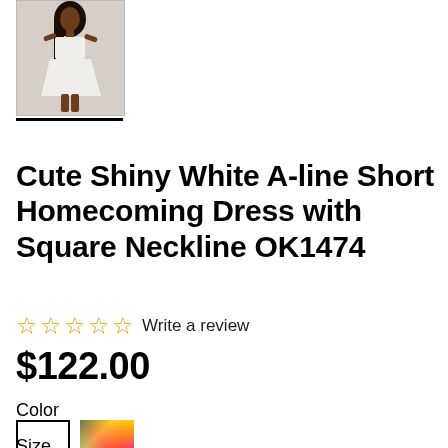[Figure (photo): Woman wearing a white A-line short dress with square neckline, full body shot, with black underline beneath the thumbnail image]
Cute Shiny White A-line Short Homecoming Dress with Square Neckline OK1474
☆☆☆☆☆ Write a review
$122.00
Color
[Figure (other): Two color swatches: white square swatch and multicolor/rainbow swatch]
Size